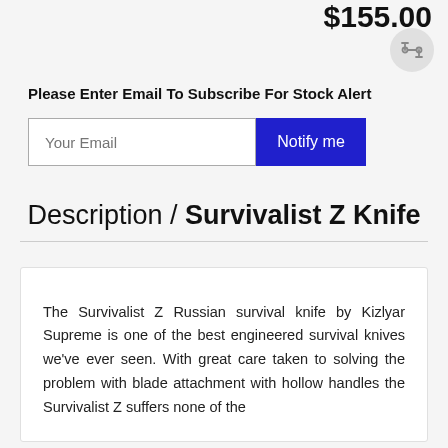$155.00
Please Enter Email To Subscribe For Stock Alert
Your Email
Notify me
Description / Survivalist Z Knife
The Survivalist Z Russian survival knife by Kizlyar Supreme is one of the best engineered survival knives we've ever seen. With great care taken to solving the problem with blade attachment with hollow handles the Survivalist Z suffers none of the